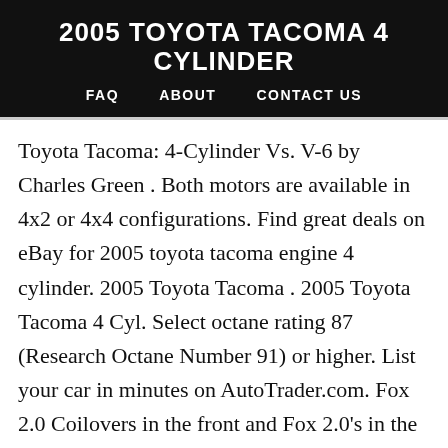2005 TOYOTA TACOMA 4 CYLINDER
FAQ   ABOUT   CONTACT US
Toyota Tacoma: 4-Cylinder Vs. V-6 by Charles Green . Both motors are available in 4x2 or 4x4 configurations. Find great deals on eBay for 2005 toyota tacoma engine 4 cylinder. 2005 Toyota Tacoma . 2005 Toyota Tacoma 4 Cyl. Select octane rating 87 (Research Octane Number 91) or higher. List your car in minutes on AutoTrader.com. Fox 2.0 Coilovers in the front and Fox 2.0’s in the … Search from 99 Used Toyota Tacoma cars for sale, including a 2005 Toyota Tacoma 2WD Access Cab PreRunner, a 2005 Toyota Tacoma 2WD Double